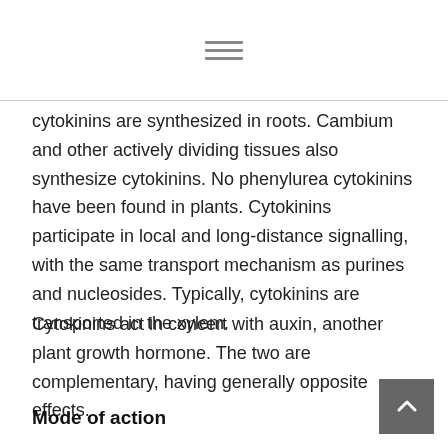≡
cytokinins are synthesized in roots. Cambium and other actively dividing tissues also synthesize cytokinins. No phenylurea cytokinins have been found in plants. Cytokinins participate in local and long-distance signalling, with the same transport mechanism as purines and nucleosides. Typically, cytokinins are transported in the xylem.
Cytokinins act in concert with auxin, another plant growth hormone. The two are complementary, having generally opposite effects.
Mode of action